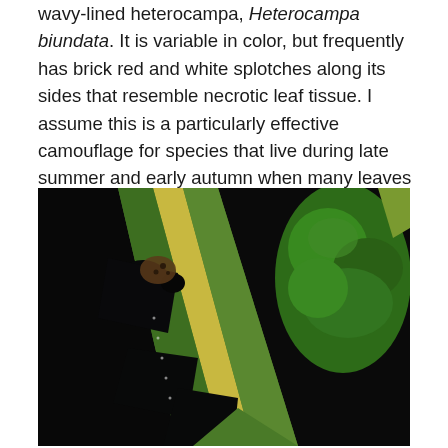wavy-lined heterocampa, Heterocampa biundata. It is variable in color, but frequently has brick red and white splotches along its sides that resemble necrotic leaf tissue. I assume this is a particularly effective camouflage for species that live during late summer and early autumn when many leaves are pock-marked by such splotches.
[Figure (photo): Close-up photograph of a green leaf with yellowish midrib, showing irregular dark holes/notches cut from the leaf edge, against a dark background. Another green leaf is visible in the upper right. The damage pattern resembles caterpillar feeding.]